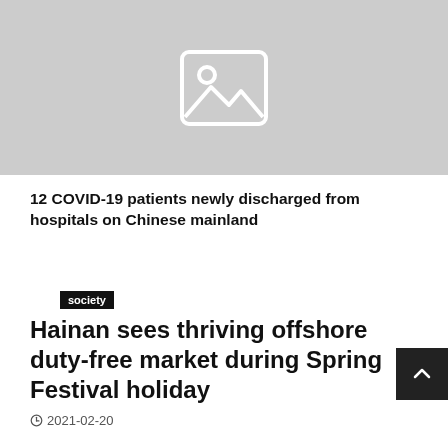[Figure (illustration): Placeholder image with mountain/landscape icon on grey background]
12 COVID-19 patients newly discharged from hospitals on Chinese mainland
society
Hainan sees thriving offshore duty-free market during Spring Festival holiday
2021-02-20